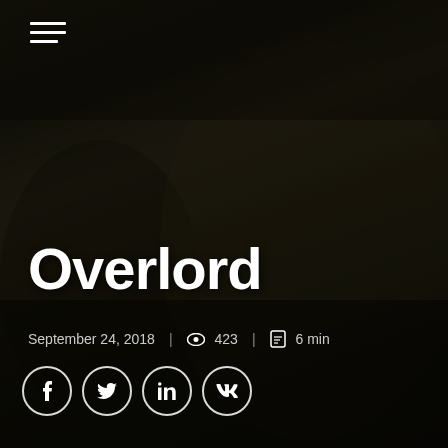[Figure (photo): Movie still from Overlord (2018): a woman and a Black male soldier in WWII gear in a dark industrial setting]
Overlord
September 24, 2018  |  423  |  6 min
Social share icons: Facebook, Twitter, LinkedIn, VK